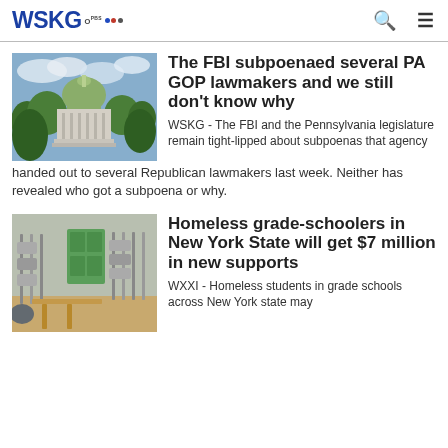WSKG PBS NPR
The FBI subpoenaed several PA GOP lawmakers and we still don't know why
WSKG - The FBI and the Pennsylvania legislature remain tight-lipped about subpoenas that agency handed out to several Republican lawmakers last week. Neither has revealed who got a subpoena or why.
Homeless grade-schoolers in New York State will get $7 million in new supports
WXXI - Homeless students in grade schools across New York state may